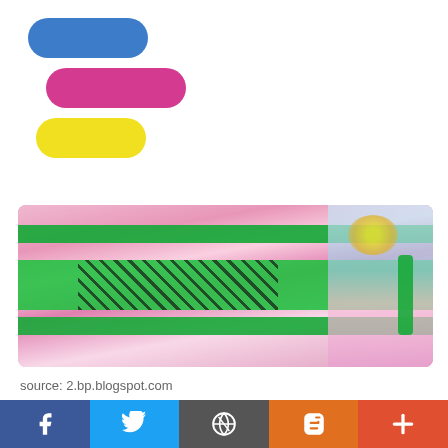[Figure (logo): Three stacked pill/capsule shapes in blue, pink/magenta, and yellow, staggered to the right — a presentation or content app logo]
[Figure (photo): Close-up photo of colorful embroidered fabric with green trim and intricate black patterns on pink/floral cloth]
source: 2.bp.blogspot.com
[Figure (photo): Partial photo of colorful kites (pink, teal, white, red) against a blue sky]
[Figure (infographic): Social sharing bar with five buttons: Facebook (dark blue), Twitter (light blue), WordPress (gray), Blogger (orange), and a plus/more button (red-orange)]